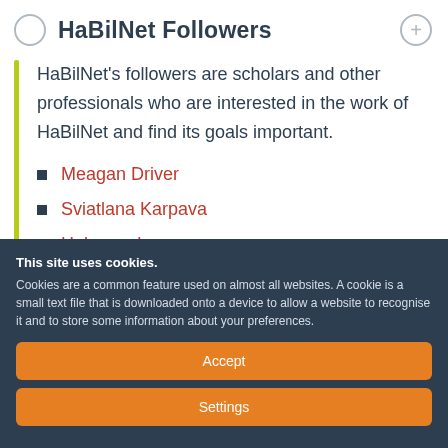HaBilNet Followers
HaBilNet's followers are scholars and other professionals who are interested in the work of HaBilNet and find its goals important.
Meagan Driver
Sviatlana Karpava
Hakyoon Lee
Vanda Marijanovic
This site uses cookies. Cookies are a common feature used on almost all websites. A cookie is a small text file that is downloaded onto a device to allow a website to recognise it and to store some information about your preferences.
Accept
Settings